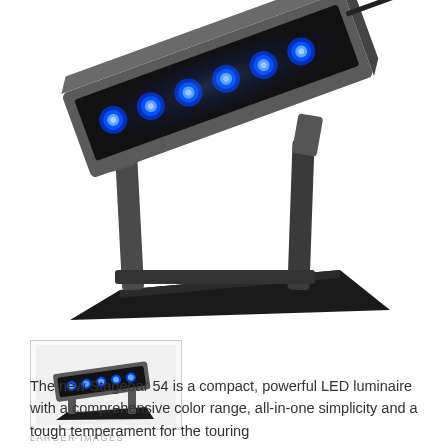[Figure (photo): Large product photo of the Stagebar 54 LED luminaire mounted on a stand, angled view showing blue LEDs illuminated, dark grey/black housing and base]
[Figure (photo): Small thumbnail image of the Stagebar 54 LED luminaire on a stand, showing blue LEDs, front-facing angle]
LARGER IMAGES
The new Stagebar 54 is a compact, powerful LED luminaire with a comprehensive color range, all-in-one simplicity and a tough temperament for the touring